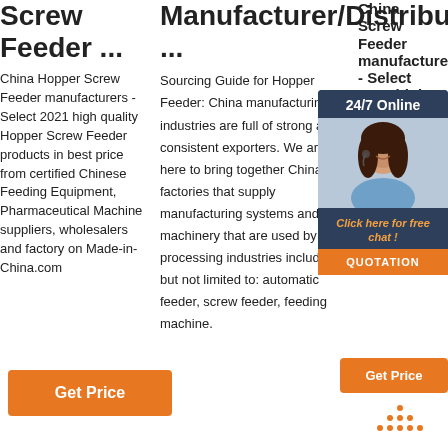Screw Feeder ...
China Hopper Screw Feeder manufacturers - Select 2021 high quality Hopper Screw Feeder products in best price from certified Chinese Feeding Equipment, Pharmaceutical Machine suppliers, wholesalers and factory on Made-in-China.com
Manufacturer/Distributor ...
Sourcing Guide for Hopper Feeder: China manufacturing industries are full of strong and consistent exporters. We are here to bring together China factories that supply manufacturing systems and machinery that are used by processing industries including but not limited to: automatic feeder, screw feeder, feeding machine.
China Screw Feeder manufacturers...
China Screw Feeder manufacturers - Select 2021 high quality Screw Feeder products in best price from certified Chinese Feeder, Screw Feeder suppliers, wholesalers and factory on Made-in-China.com
[Figure (photo): Customer service agent photo with 24/7 Online chat widget overlay, including Click here for free chat button and QUOTATION button]
[Figure (other): Get Price orange button (col3)]
[Figure (other): TOP navigation button with orange dots and text]
[Figure (other): Get Price orange button (col1)]